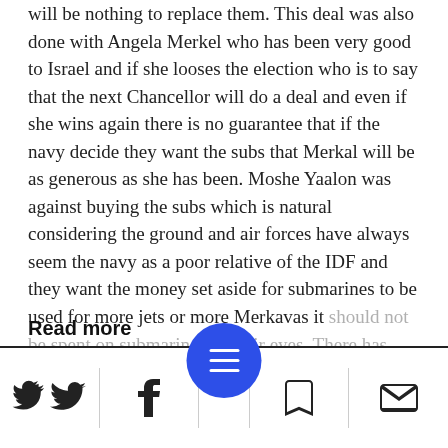will be nothing to replace them. This deal was also done with Angela Merkel who has been very good to Israel and if she looses the election who is to say that the next Chancellor will do a deal and even if she wins again there is no guarantee that if the navy decide they want the subs that Merkal will be as generous as she has been. Moshe Yaalon was against buying the subs which is natural considering the ground and air forces have always seem the navy as a poor relative of the IDF and they want the money set aside for submarines to be used for more jets or more Merkavas it should not be spent on submarines in their eyes. There has never yet been a Chief of
Read more